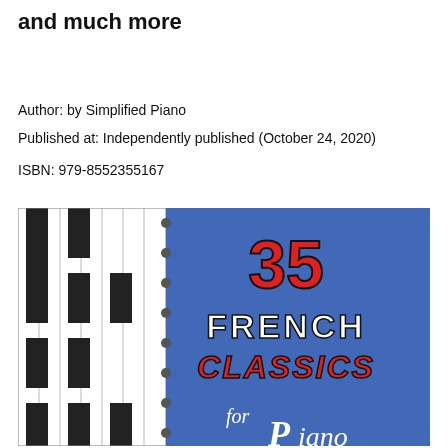and much more
Author: by Simplified Piano
Published at: Independently published (October 24, 2020)
ISBN: 979-8552355167
[Figure (illustration): Book cover of '35 French Classics for Piano' showing piano keys on the left side and a blue textured background on the right with the title text '35 FRENCH CLASSICS' in red and white letters, with 'for Piano' in cursive white, partially visible at bottom.]